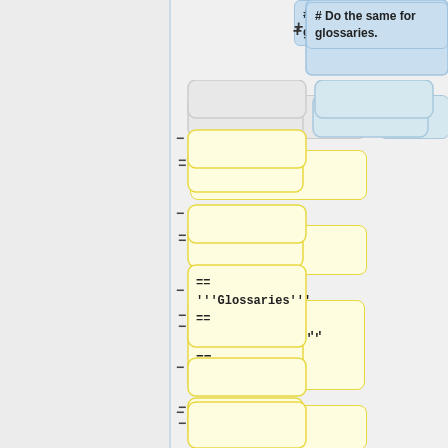# Do the same for glossaries.
[Figure (flowchart): A vertical diff/flowchart showing code editing steps. Two gray placeholder boxes at top, then a series of yellow-highlighted diff boxes with minus signs showing removed lines. One box contains '== '''Glossaries''' ==' code. Another yellow box contains text 'All that you need is to export your glossary and import it later:'. Blue box at top right shows '# Do the same for glossaries.' A plus sign connects to the blue box.]